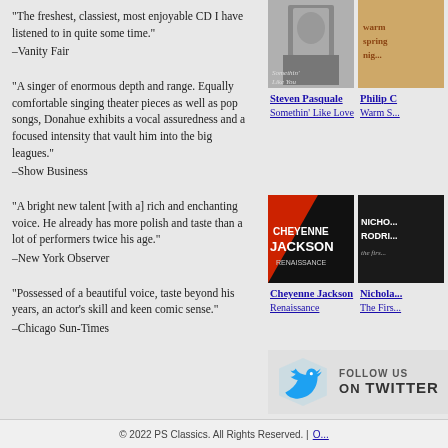“The freshest, classiest, most enjoyable CD I have listened to in quite some time.” –Vanity Fair
“A singer of enormous depth and range. Equally comfortable singing theater pieces as well as pop songs, Donahue exhibits a vocal assuredness and a focused intensity that vault him into the big leagues.” –Show Business
“A bright new talent [with a] rich and enchanting voice. He already has more polish and taste than a lot of performers twice his age.” –New York Observer
“Possessed of a beautiful voice, taste beyond his years, an actor’s skill and keen comic sense.” –Chicago Sun-Times
[Figure (photo): Album cover for Steven Pasquale - Somethin' Like Love]
Steven Pasquale
Somethin’ Like Love
[Figure (photo): Album cover for Philip C - Warm Springs Night]
Philip C
Warm S...
[Figure (photo): Album cover for Cheyenne Jackson - Renaissance]
Cheyenne Jackson
Renaissance
[Figure (photo): Album cover for Nicholas Rodriguez - The First...]
Nicholas...
The Firs...
[Figure (logo): Follow us on Twitter banner with Twitter bird logo]
© 2022 PS Classics. All Rights Reserved. | O...